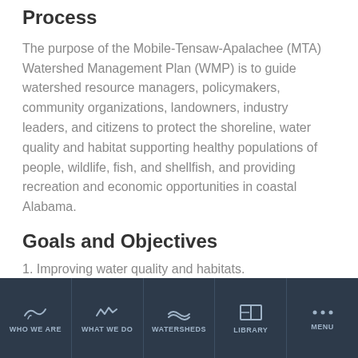Process
The purpose of the Mobile-Tensaw-Apalachee (MTA) Watershed Management Plan (WMP) is to guide watershed resource managers, policymakers, community organizations, landowners, industry leaders, and citizens to protect the shoreline, water quality and habitat supporting healthy populations of people, wildlife, fish, and shellfish, and providing recreation and economic opportunities in coastal Alabama.
Goals and Objectives
1. Improving water quality and habitats.